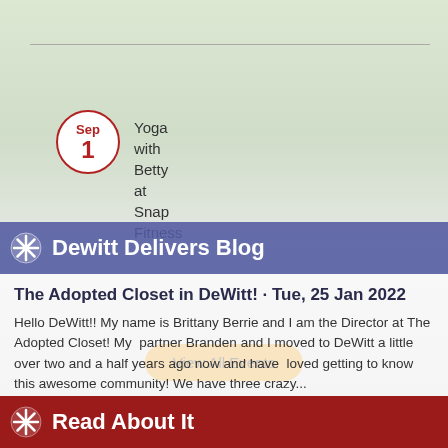Sep 1 - Yoga with Betty at Snap Fitness
View All Events
Dewitt Delivers Blog
The Adopted Closet in DeWitt! · Tue, 25 Jan 2022
Hello DeWitt!! My name is Brittany Berrie and I am the Director at The Adopted Closet! My  partner Branden and I moved to DeWitt a little over two and a half years ago now and have  loved getting to know this awesome community! We have three crazy...
Read More
Read About It